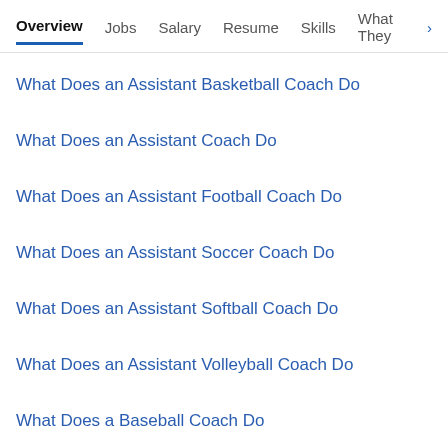Overview | Jobs | Salary | Resume | Skills | What They >
What Does an Assistant Basketball Coach Do
What Does an Assistant Coach Do
What Does an Assistant Football Coach Do
What Does an Assistant Soccer Coach Do
What Does an Assistant Softball Coach Do
What Does an Assistant Volleyball Coach Do
What Does a Baseball Coach Do
What Does a Coach Do
What Does a Girls Basketball Coach Do
What Does a Head Baseball Coach Do